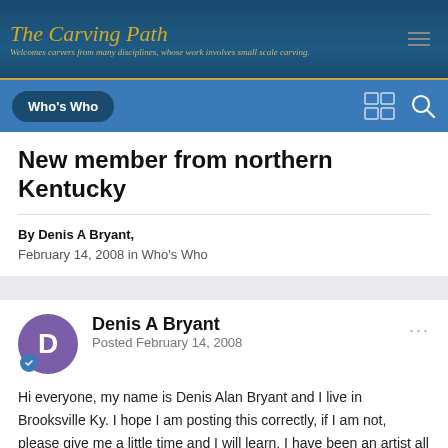The Carving Path — Welcomes carvers from many disciplines, whose work involves small scale carving.
Who's Who
New member from northern Kentucky
By Denis A Bryant,
February 14, 2008 in Who's Who
Denis A Bryant
Posted February 14, 2008
Hi everyone, my name is Denis Alan Bryant and I live in Brooksville Ky. I hope I am posting this correctly, if I am not, please give me a little time and I will learn. I have been an artist all of my life, I have never had any formal training or lessons. My mother made and painted ceramics and my father was a wood carver. I work mostly in 3 mediums, oil on canvas, clay [ southwestern style